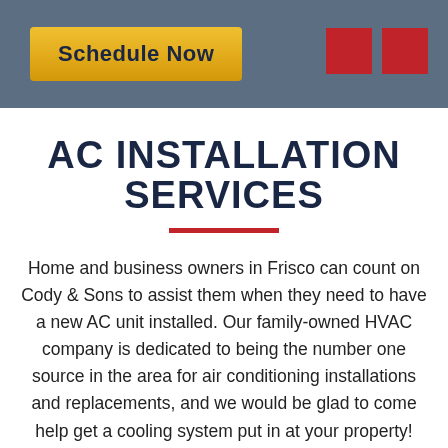Schedule Now
AC INSTALLATION SERVICES
Home and business owners in Frisco can count on Cody & Sons to assist them when they need to have a new AC unit installed. Our family-owned HVAC company is dedicated to being the number one source in the area for air conditioning installations and replacements, and we would be glad to come help get a cooling system put in at your property!